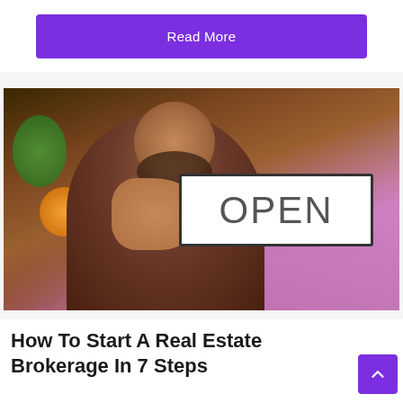Read More
[Figure (photo): Person holding an OPEN sign, blurred background with warm bokeh lights on left and pink/purple tones on right]
How To Start A Real Estate Brokerage In 7 Steps